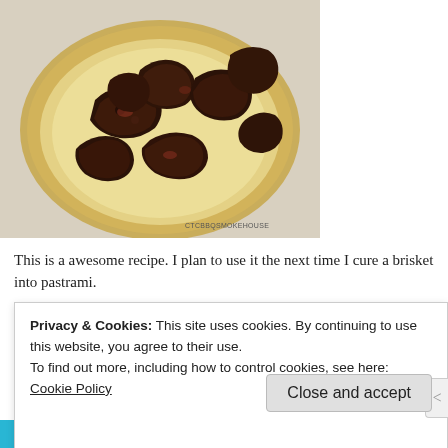[Figure (photo): A golden decorative plate holding chunks of dark, heavily seasoned smoked meat (burnt ends or similar BBQ), photographed from above on a light countertop. A watermark reads 'CTCBBQSMOKEHOUSE' in the bottom right corner.]
This is a awesome recipe. I plan to use it the next time I cure a brisket into pastrami.
Privacy & Cookies: This site uses cookies. By continuing to use this website, you agree to their use.
To find out more, including how to control cookies, see here: Cookie Policy
Close and accept